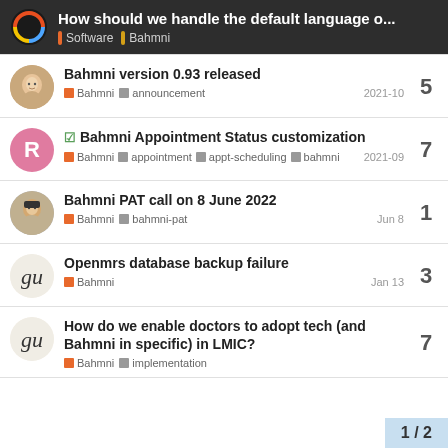How should we handle the default language o... Software Bahmni
Bahmni version 0.93 released
Bahmni announcement 2021-10
Replies: 5
✓ Bahmni Appointment Status customization
Bahmni appointment appt-scheduling bahmni 2021-09
Replies: 7
Bahmni PAT call on 8 June 2022
Bahmni bahmni-pat Jun 8
Replies: 1
Openmrs database backup failure
Bahmni Jan 13
Replies: 3
How do we enable doctors to adopt tech (and Bahmni in specific) in LMIC?
Bahmni implementation
Replies: 7
1 / 2